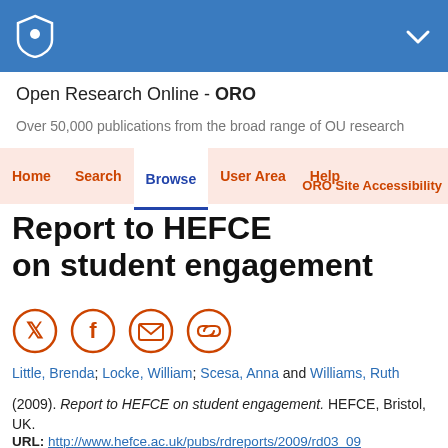Open Research Online - ORO
Over 50,000 publications from the broad range of OU research
Home | Search | Browse | User Area | Help | ORO Site Accessibility
Report to HEFCE on student engagement
Social share icons: Twitter, Facebook, Email, Link
Little, Brenda; Locke, William; Scesa, Anna and Williams, Ruth
(2009). Report to HEFCE on student engagement. HEFCE, Bristol, UK.
URL: http://www.hefce.ac.uk/pubs/rdreports/2009/rd03_09